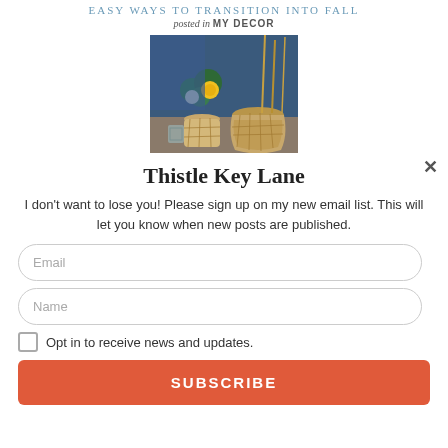EASY WAYS TO TRANSITION INTO FALL
posted in MY DECOR
[Figure (photo): Photo of decorative wicker vases and flower arrangement on a table with blue background]
Thistle Key Lane
I don't want to lose you! Please sign up on my new email list. This will let you know when new posts are published.
Email (input field)
Name (input field)
Opt in to receive news and updates.
SUBSCRIBE